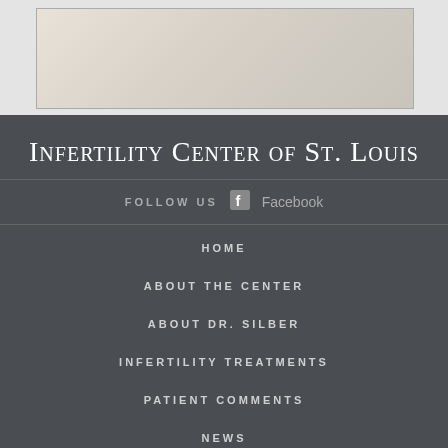[Figure (photo): Partial view of a person or baby photo, light cream/beige tones, cropped at top]
Infertility Center of St. Louis
FOLLOW US   f  Facebook
HOME
ABOUT THE CENTER
ABOUT DR. SILBER
INFERTILITY TREATMENTS
PATIENT COMMENTS
NEWS